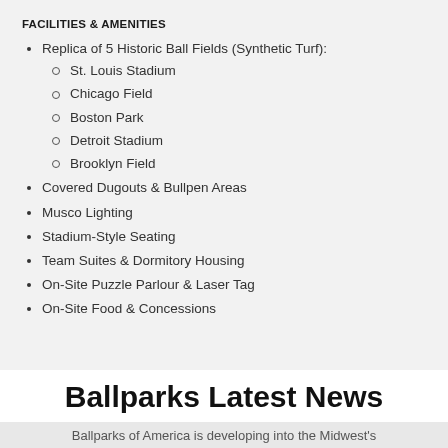FACILITIES & AMENITIES
Replica of 5 Historic Ball Fields (Synthetic Turf):
St. Louis Stadium
Chicago Field
Boston Park
Detroit Stadium
Brooklyn Field
Covered Dugouts & Bullpen Areas
Musco Lighting
Stadium-Style Seating
Team Suites & Dormitory Housing
On-Site Puzzle Parlour & Laser Tag
On-Site Food & Concessions
Ballparks Latest News
Ballparks of America is developing into the Midwest's